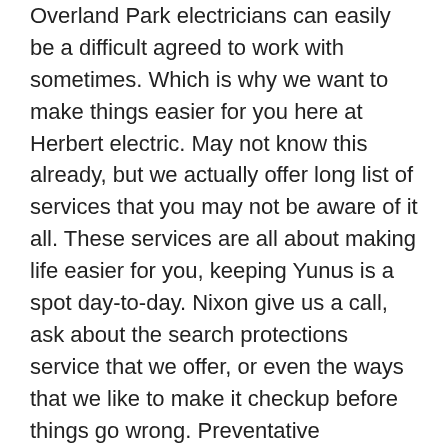Overland Park electricians can easily be a difficult agreed to work with sometimes. Which is why we want to make things easier for you here at Herbert electric. May not know this already, but we actually offer long list of services that you may not be aware of it all. These services are all about making life easier for you, keeping Yunus is a spot day-to-day. Nixon give us a call, ask about the search protections service that we offer, or even the ways that we like to make it checkup before things go wrong. Preventative checkups, are great way to make sure that you are safe no matter what. In fact, we always want to tackle the emergency before comes around.
These are just some ways that we continue to stand out and look to do so for very long time. However, let me tell you but set of values that we have. We believe it's very important as